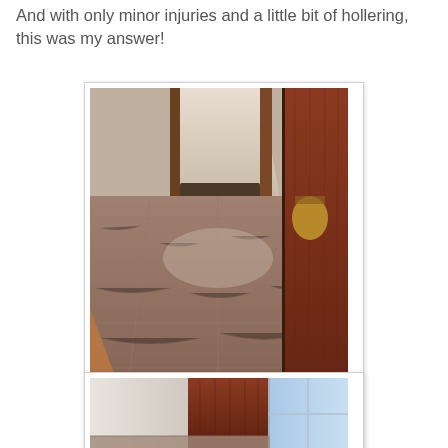And with only minor injuries and a little bit of hollering, this was my answer!
[Figure (photo): Indoor hallway photo showing newly installed tile flooring — marbled dark reddish-brown vinyl tiles laid in a grid pattern. The hallway leads toward a door with a wood frame; on the right is dark wood paneling or furniture. On the left, partial view of wood flooring. Natural light comes through an opening at the far end.]
[Figure (photo): Second photo of what appears to be the same space from a different angle, showing a white wall on the left, dark reddish-brown wood paneling or door in the center, and a bright window with blue-tinted light on the right. Partial view of the tiled floor at the bottom.]